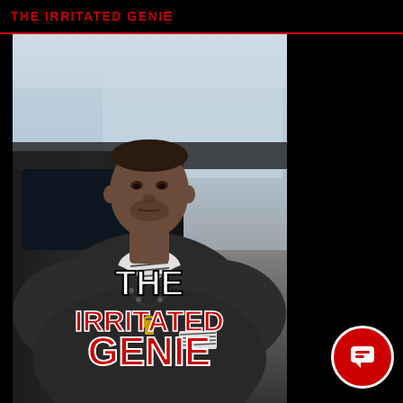THE IRRITATED GENIE
[Figure (photo): Screenshot of a webpage titled 'THE IRRITATED GENIE' showing a Black man in a dark jacket with an ankh necklace, standing near a car. Overlaid text reads 'THE IRRITATED GENIE' in white and red letters.]
THE IRRITATED GENIE